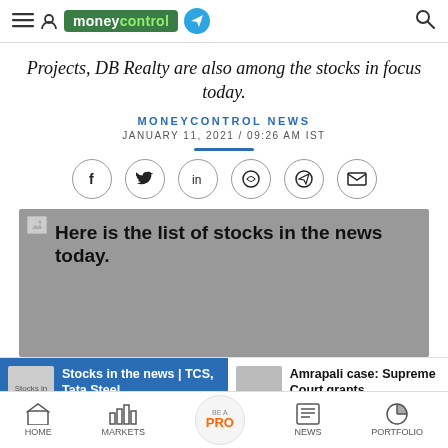moneycontrol
Projects, DB Realty are also among the stocks in focus today.
MONEYCONTROL NEWS
JANUARY 11, 2021 / 09:26 AM IST
[Figure (infographic): Social sharing icons row: Facebook, Twitter, LinkedIn, WhatsApp, Telegram, Email]
[Figure (photo): Gray placeholder image with text: Here is the list of stocks in the news today.]
Stocks in the news | TCS, Tata Steel,
Amrapali case: Supreme Court grants
HOME  MARKETS  BE A PRO  NEWS  PORTFOLIO